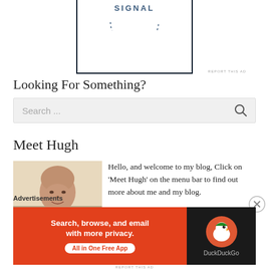[Figure (logo): Partial view of a SIGNAL logo inside a dark-bordered box, with dotted circular border element, cropped at top]
Looking For Something?
[Figure (screenshot): Search bar with placeholder text 'Search ...' and a magnifying glass icon on the right, on a light gray background]
Meet Hugh
[Figure (photo): Photo of an older bald man in a light blue shirt, smiling slightly]
Hello, and welcome to my blog, Click on 'Meet Hugh' on the menu bar to find out more about me and my blog.
Advertisements
[Figure (screenshot): DuckDuckGo advertisement banner: orange left side reading 'Search, browse, and email with more privacy. All in One Free App', dark right side with DuckDuckGo duck logo and 'DuckDuckGo' text]